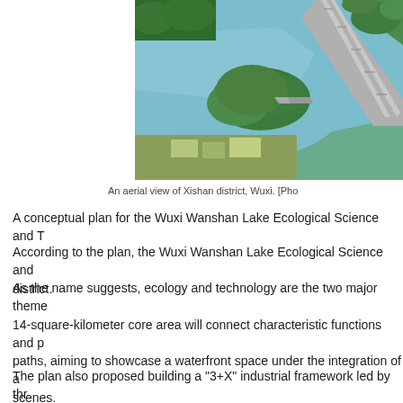[Figure (photo): Aerial view of Xishan district, Wuxi, showing a large lake with green tree-covered peninsula, a multi-lane highway with streetlights running diagonally, and surrounding greenery with farmland patches.]
An aerial view of Xishan district, Wuxi. [Pho
A conceptual plan for the Wuxi Wanshan Lake Ecological Science and T
According to the plan, the Wuxi Wanshan Lake Ecological Science and district.
As the name suggests, ecology and technology are the two major theme 14-square-kilometer core area will connect characteristic functions and p paths, aiming to showcase a waterfront space under the integration of a scenes.
The plan also proposed building a "3+X" industrial framework led by thr